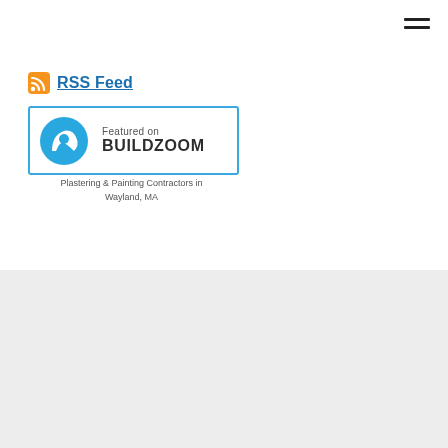[Figure (other): Hamburger menu icon (three horizontal lines) in top right corner]
RSS Feed
[Figure (logo): Featured on BUILDZOOM badge with blue circular logo on left and text 'Featured on BUILDZOOM' on right, enclosed in blue border]
Plastering & Painting Contractors in Wayland, MA
[Figure (other): Gray footer section with two horizontal lines, one blue and one dark]